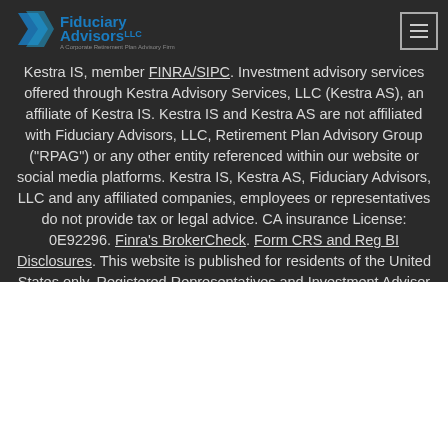Fiduciary Advisors LLC — header with logo and navigation
Kestra IS, member FINRA/SIPC. Investment advisory services offered through Kestra Advisory Services, LLC (Kestra AS), an affiliate of Kestra IS. Kestra IS and Kestra AS are not affiliated with Fiduciary Advisors, LLC, Retirement Plan Advisory Group ("RPAG") or any other entity referenced within our website or social media platforms. Kestra IS, Kestra AS, Fiduciary Advisors, LLC and any affiliated companies, employees or representatives do not provide tax or legal advice. CA insurance License: 0E92296. Finra's BrokerCheck. Form CRS and Reg BI Disclosures. This website is published for residents of the United States only. Registered Representatives and Investment Advisor Representatives of Kestra IS and Kestra AS may only conduct
Cookies and Data Collection
Learn how we use cookies to make fiduciaryadvisors.biz more relevant to you by reviewing our Privacy Policy. To accept cookies, click Accept & Close, or continue browsing as normal. By